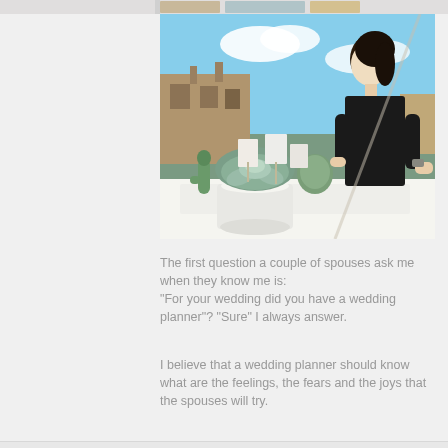[Figure (photo): A woman in a black dress arranging succulent plants and cacti in white pots at an outdoor wedding venue, with building rooftops and blue sky visible in the background.]
The first question a couple of spouses ask me when they know me is: "For your wedding did you have a wedding planner"? "Sure" I always answer.
I believe that a wedding planner should know what are the feelings, the fears and the joys that the spouses will try.